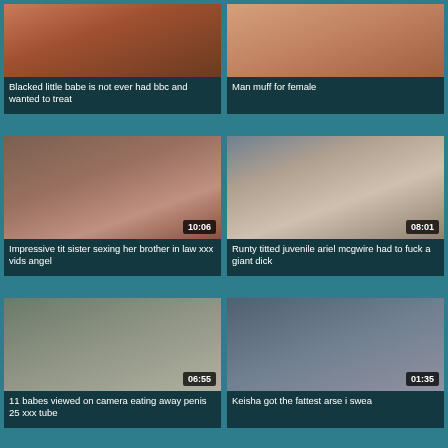[Figure (photo): Thumbnail image - women in swimwear]
Blacked little babe is not ever had bbc and wanted to treat
[Figure (photo): Thumbnail image - close up skin]
Man muff for female
[Figure (photo): Thumbnail image - couple, duration 10:06]
Impressive tit sister sexing her brother in law xxx vids angel
[Figure (photo): Thumbnail image - office scene, duration 08:01]
Runty titted juvenile ariel mcgwire had to fuck a giant dick
[Figure (photo): Thumbnail image - duration 06:55]
11 babes viewed on camera eating away penis 25 xxx tube
[Figure (photo): Thumbnail image - duration 01:35]
Keisha got the fattest arse i swea